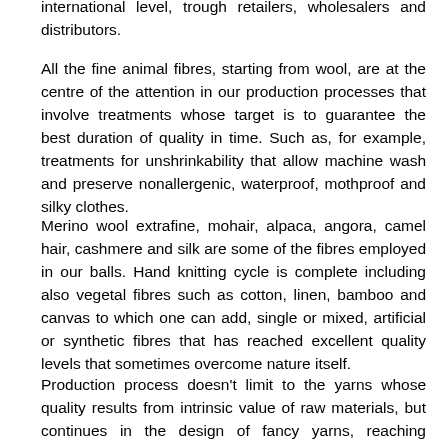international level, trough retailers, wholesalers and distributors.
All the fine animal fibres, starting from wool, are at the centre of the attention in our production processes that involve treatments whose target is to guarantee the best duration of quality in time. Such as, for example, treatments for unshrinkability that allow machine wash and preserve nonallergenic, waterproof, mothproof and silky clothes.
Merino wool extrafine, mohair, alpaca, angora, camel hair, cashmere and silk are some of the fibres employed in our balls. Hand knitting cycle is complete including also vegetal fibres such as cotton, linen, bamboo and canvas to which one can add, single or mixed, artificial or synthetic fibres that has reached excellent quality levels that sometimes overcome nature itself.
Production process doesn't limit to the yarns whose quality results from intrinsic value of raw materials, but continues in the design of fancy yarns, reaching astonishing levels of technology to which excellent machines with an excellent technological background give their contribution.